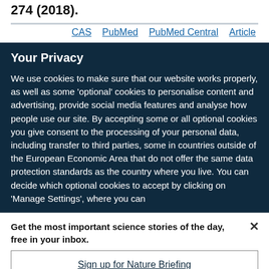274 (2018).
CAS   PubMed   PubMed Central   Article
Your Privacy
We use cookies to make sure that our website works properly, as well as some 'optional' cookies to personalise content and advertising, provide social media features and analyse how people use our site. By accepting some or all optional cookies you give consent to the processing of your personal data, including transfer to third parties, some in countries outside of the European Economic Area that do not offer the same data protection standards as the country where you live. You can decide which optional cookies to accept by clicking on 'Manage Settings', where you can
Get the most important science stories of the day, free in your inbox.
Sign up for Nature Briefing